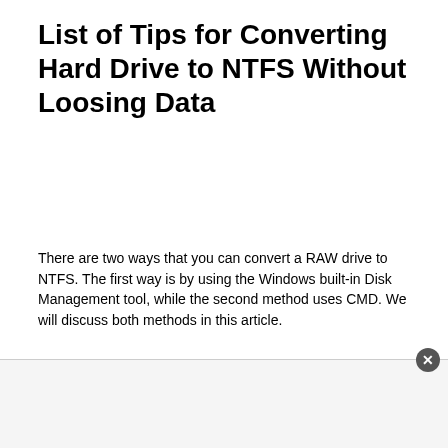List of Tips for Converting Hard Drive to NTFS Without Loosing Data
There are two ways that you can convert a RAW drive to NTFS. The first way is by using the Windows built-in Disk Management tool, while the second method uses CMD. We will discuss both methods in this article.
1. Restore Data from the RAW Hard Drive/Partition
1. The first step is to Download and Install the Magic NTFS...